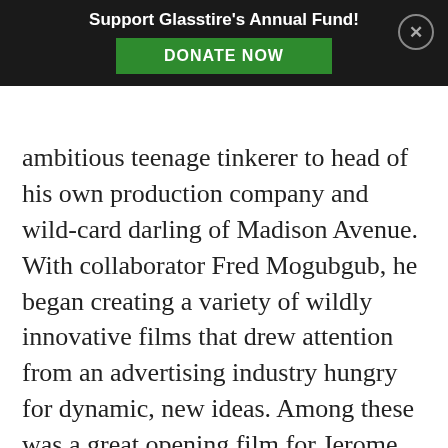Support Glasstire's Annual Fund! DONATE NOW
ambitious teenage tinkerer to head of his own production company and wild-card darling of Madison Avenue. With collaborator Fred Mogubgub, he began creating a variety of wildly innovative films that drew attention from an advertising industry hungry for dynamic, new ideas. Among these was a great opening film for Jerome Robbins' 1961 stage play Oh Dad, Poor Dad, Mama's Hung You In The Closet and I'm Feeling So... Sad using found footage, and striking sequences created for Hartford Channel 18 which compressed through radically rapid editing many